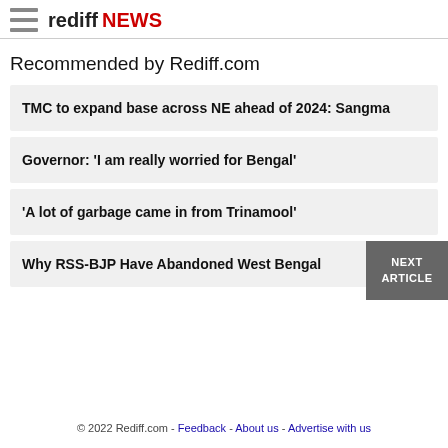rediff NEWS
Recommended by Rediff.com
TMC to expand base across NE ahead of 2024: Sangma
Governor: 'I am really worried for Bengal'
'A lot of garbage came in from Trinamool'
Why RSS-BJP Have Abandoned West Bengal
© 2022 Rediff.com - Feedback - About us - Advertise with us